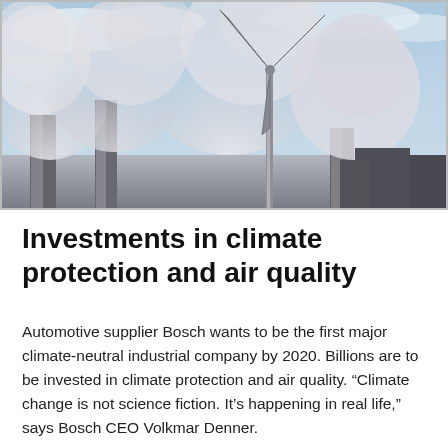[Figure (photo): Industrial chimneys emitting large white smoke plumes against a light sky, with a wind turbine visible in the background. Dark building silhouettes at the bottom.]
Investments in climate protection and air quality
Automotive supplier Bosch wants to be the first major climate-neutral industrial company by 2020. Billions are to be invested in climate protection and air quality. “Climate change is not science fiction. It’s happening in real life,” says Bosch CEO Volkmar Denner.